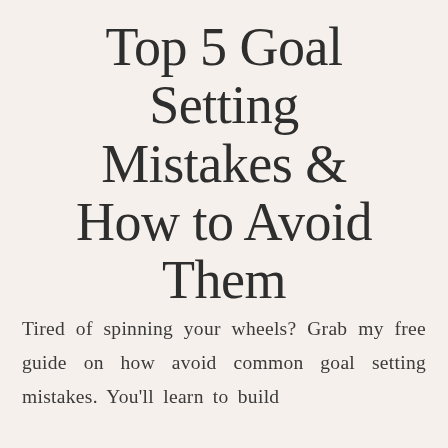Top 5 Goal Setting Mistakes & How to Avoid Them
Tired of spinning your wheels? Grab my free guide on how avoid common goal setting mistakes. You'll learn to build